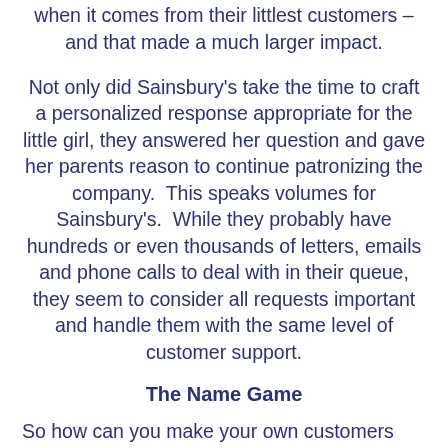when it comes from their littlest customers – and that made a much larger impact.
Not only did Sainsbury's take the time to craft a personalized response appropriate for the little girl, they answered her question and gave her parents reason to continue patronizing the company.  This speaks volumes for Sainsbury's.  While they probably have hundreds or even thousands of letters, emails and phone calls to deal with in their queue, they seem to consider all requests important and handle them with the same level of customer support.
The Name Game
So how can you make your own customers feel as special as Lily did?  Here's one easy way – use their name!  Starting an email with "Dear Customer" is